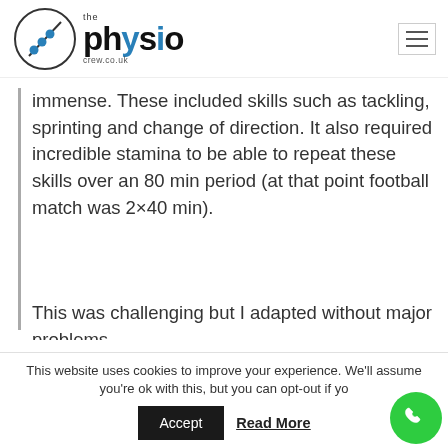[Figure (logo): The Physio Crew logo with circular icon and text]
immense. These included skills such as tackling, sprinting and change of direction. It also required incredible stamina to be able to repeat these skills over an 80 min period (at that point football match was 2×40 min).
This was challenging but I adapted without major problems.
This website uses cookies to improve your experience. We'll assume you're ok with this, but you can opt-out if you wish.